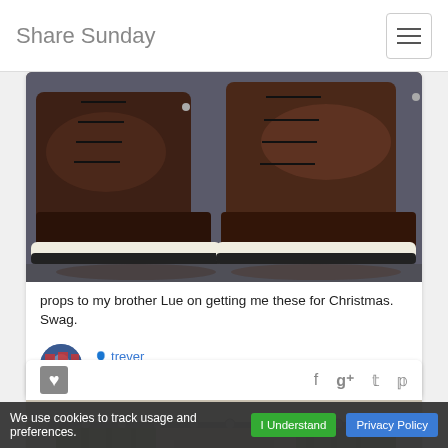Share Sunday
[Figure (photo): Close-up photo of two dark brown leather boots with white/cream soles on a reflective surface]
props to my brother Lue on getting me these for Christmas. Swag.
trever
Mens Fashion
[Figure (photo): Photo of olive/green curtains hanging on a metal rod against a beige wall]
We use cookies to track usage and preferences.